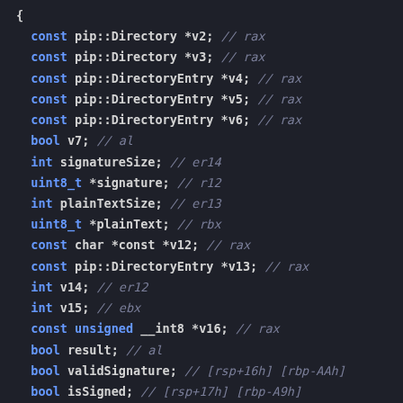[Figure (screenshot): Dark-themed code editor showing C++ variable declarations with type keywords in blue, variable names in white, and register comments in gray italic. Shows 'const pip::Directory', 'pip::DirectoryEntry', 'bool', 'int', 'uint8_t', and 'flatbuffers::VectorIterator' type declarations with associated register comments.]